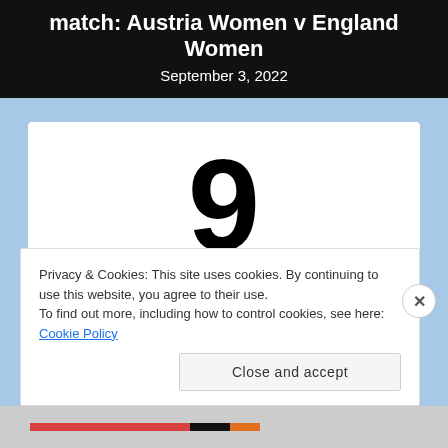match: Austria Women v England Women
September 3, 2022
9
days to go.
Privacy & Cookies: This site uses cookies. By continuing to use this website, you agree to their use.
To find out more, including how to control cookies, see here: Cookie Policy
Close and accept